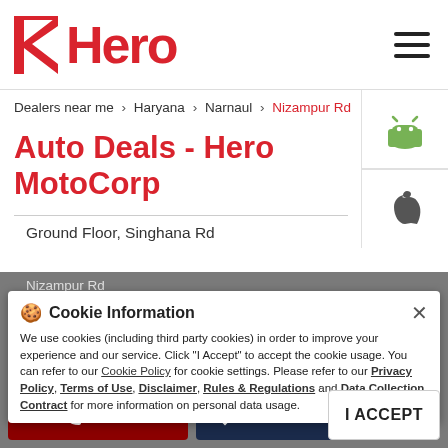[Figure (logo): Hero MotoCorp logo with red stylized 'H' icon and red 'Hero' text]
Dealers near me > Haryana > Narnaul > Nizampur Rd
Auto Deals - Hero MotoCorp
Ground Floor, Singhana Rd
Nizampur Rd
Namaul - 123001
1st Turning Point
Open until 06:00 PM
Cookie Information
We use cookies (including third party cookies) in order to improve your experience and our service. Click "I Accept" to accept the cookie usage. You can refer to our Cookie Policy for cookie settings. Please refer to our Privacy Policy, Terms of Use, Disclaimer, Rules & Regulations and Data Collection Contract for more information on personal data usage.
CALL
DIRECTIONS
I ACCEPT